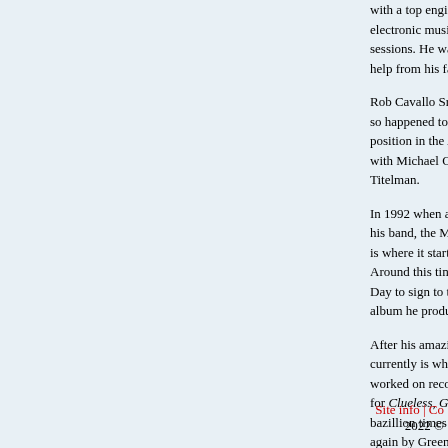with a top engineer George Massenburg. He as electronic musical equipment and was also a se sessions. He was on his way to becoming an ama help from his father.
Rob Cavallo Sr. introduced his son to Lenny Waronk so happened to own Reprise. They had an intervie position in the A&R department, another division of W with Michael Ostin and many others such as Ted T Titelman.
In 1992 when another employee in the departmen his band, the Muffs, he agreed. The same recording is where it starts, you still with me? Good. Around this time record companies everywhere see Day to sign to their label, but Cavallo ended up ge album he produced.
After his amazing job on Dookie he was made S currently is where he's at. Besides producing ma worked on recordings for the Goo Goo Dolls and Al for Clueless, Godzilla and many others. The most bazillion times selling (exaggeration, but you get t again by Green Day. At the moment he's working Alice in Wonderland.
Nice going, Rob. We salute you.
Site info | Co 2022 ©